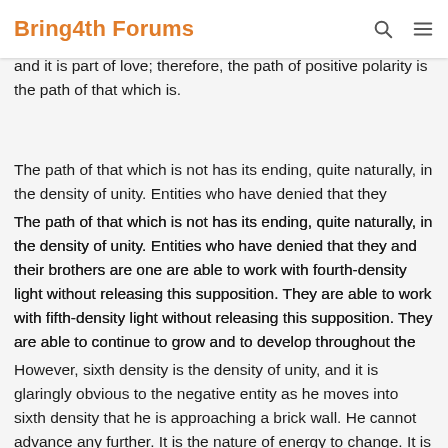Bring4th Forums
mirror almost the use of the heart. This is possible and necessary to use the Infinite Creator. Yet the Creator is one and it is part of love; therefore, the path of positive polarity is the path of that which is.
The path of that which is not has its ending, quite naturally, in the density of unity. Entities who have denied that they and their brothers are one are able to work with fourth-density light without releasing this supposition. They are able to work with fifth-density light without releasing this supposition. They are able to continue to grow and to develop throughout the densities of love and wisdom by assuming that love is of themselves and of the Creator, and that wisdom is their wisdom and the Creator’s. They can still maintain their separateness from other entities.
However, sixth density is the density of unity, and it is glaringly obvious to the negative entity as he moves into sixth density that he is approaching a brick wall. He cannot advance any further. It is the nature of energy to change. It is not the nature of energy to stop. Consequently, there is